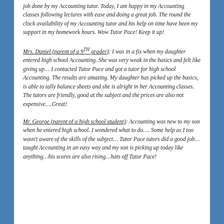job done by my Accounting tutor. Today, I am happy in my Accounting classes following lectures with ease and doing a great job. The round the clock availability of my Accounting tutor and his help on time have been my support in my homework hours. Wow Tutor Pace! Keep it up!
Mrs. Daniel (parent of a 9TH grader): I was in a fix when my daughter entered high school Accounting. She was very weak in the basics and felt like giving up… I contacted Tutor Pace and got a tutor for high school Accounting. The results are amazing. My daughter has picked up the basics, is able to tally balance sheets and she is alright in her Accounting classes. The tutors are friendly, good at the subject and the prices are also not expensive….Great!
Mr. George (parent of a high school student): Accounting was new to my son when he entered high school. I wondered what to do…. Some help as I too wasn't aware of the skills of the subject… Tutor Pace tutors did a good job… taught Accounting in an easy way and my son is picking up today like anything…his scores are also rising…hats off Tutor Pace!